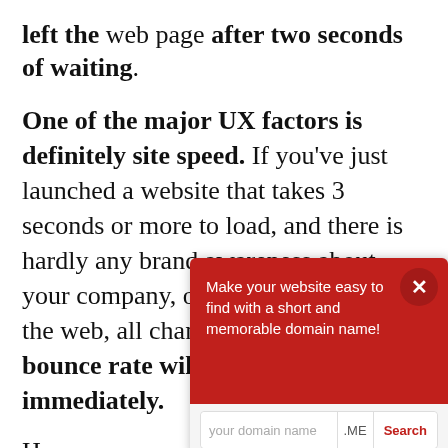left the web page after two seconds of waiting.
One of the major UX factors is definitely site speed. If you've just launched a website that takes 3 seconds or more to load, and there is hardly any brand awareness about your company, organization or blog on the web, all chances are that your bounce rate will start skyrocketing immediately.
However, encounter y, most of e that you d, and their staff is working hard on delivering great
[Figure (screenshot): A red popup overlay on a webpage showing a domain name advertisement with text 'Make your website easy to find with a short and memorable domain name!' and a search box with input 'your domain name', '.ME' label, and a 'Search' button in red text. There is a close (X) button in a darker red circle in the top right corner.]